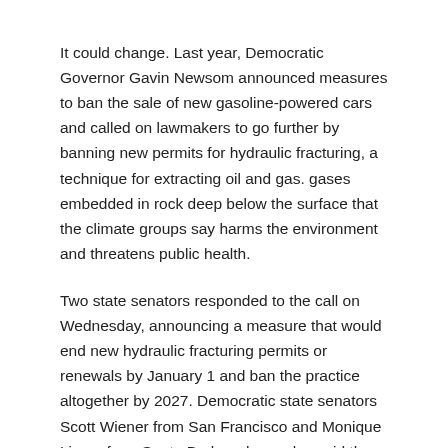It could change. Last year, Democratic Governor Gavin Newsom announced measures to ban the sale of new gasoline-powered cars and called on lawmakers to go further by banning new permits for hydraulic fracturing, a technique for extracting oil and gas. gases embedded in rock deep below the surface that the climate groups say harms the environment and threatens public health.
Two state senators responded to the call on Wednesday, announcing a measure that would end new hydraulic fracturing permits or renewals by January 1 and ban the practice altogether by 2027. Democratic state senators Scott Wiener from San Francisco and Monique Limon from Santa Barbara have also said they will. amend the bill next month to suspend new oil and gas permits within 2,500 feet (762 meters) of homes or schools by January 1.
“It’s real. It hurts so many people, and the time to face it in the future is over. We have to deal with it now,” Wiener said.